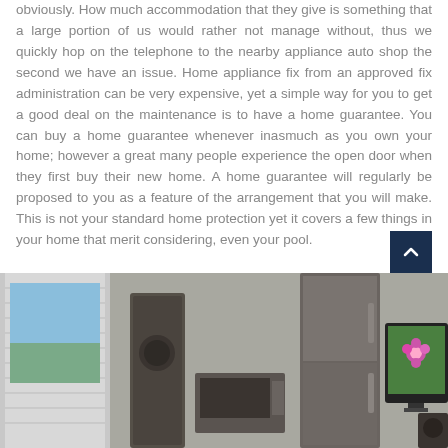obviously. How much accommodation that they give is something that a large portion of us would rather not manage without, thus we quickly hop on the telephone to the nearby appliance auto shop the second we have an issue. Home appliance fix from an approved fix administration can be very expensive, yet a simple way for you to get a good deal on the maintenance is to have a home guarantee. You can buy a home guarantee whenever inasmuch as you own your home; however a great many people experience the open door when they first buy their new home. A home guarantee will regularly be proposed to you as a feature of the arrangement that you will make. This is not your standard home protection yet it covers a few things in your home that merit considering, even your pool.
[Figure (photo): Interior room scene with appliances including a refrigerator, microwave, tall speaker cabinet, flat-screen TV with flowers on screen, and wall with window showing outdoor scenery]